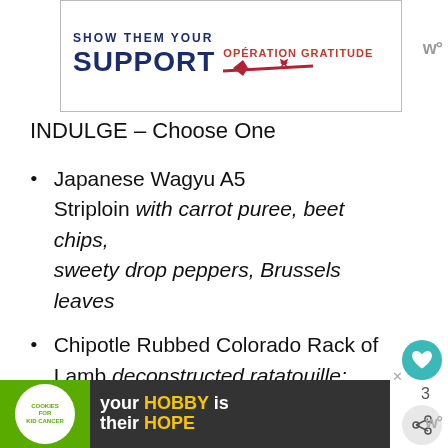[Figure (other): Advertisement banner: SHOW THEM YOUR SUPPORT - Operation Gratitude logo with stars and red stripe]
INDULGE – Choose One
Japanese Wagyu A5 Striploin with carrot puree, beet chips, sweety drop peppers, Brussels leaves
Chipotle Rubbed Colorado Rack of Lamb deconstructed ratatouille: sunburst squash, baby zucchini, ba...
[Figure (other): Bottom advertisement: your HOBBY is their HOPE - cookies for kid cancer]